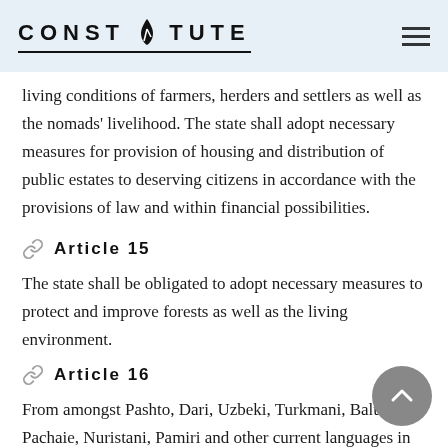CONSTITUTE
living conditions of farmers, herders and settlers as well as the nomads' livelihood. The state shall adopt necessary measures for provision of housing and distribution of public estates to deserving citizens in accordance with the provisions of law and within financial possibilities.
Article 15
The state shall be obligated to adopt necessary measures to protect and improve forests as well as the living environment.
Article 16
From amongst Pashto, Dari, Uzbeki, Turkmani, Baluchi, Pachaie, Nuristani, Pamiri and other current languages in the country, Pashto and Dari shall be the official